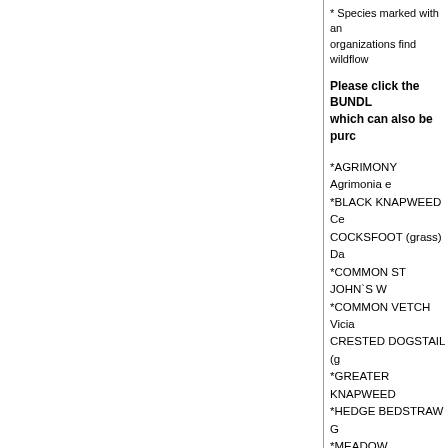* Species marked with an organizations find wildflowers
Please click the BUNDLE which can also be purchased
*AGRIMONY Agrimonia e
*BLACK KNAPWEED Ce
COCKSFOOT (grass) Da
*COMMON ST JOHN`S W
*COMMON VETCH Vicia
CRESTED DOGSTAIL (g
*GREATER KNAPWEED
*HEDGE BEDSTRAW G
*MEADOW CRANESBI
MEADOW FESCUE (gra
MEADOW FOXTAIL (gra
*OXEYE DAISY Leucant
*RED CAMPION Silene d
RED FESCUE (grass) Fe
RIBWORT PLANTAIN Pl
*SELF HEAL Prunella vu
TALL FESCUE (grass) F
*TEASEL Dipsacus fullor
TUFTED HAIRGRASS D
*TUFTED VETCH Vicia c
*UPRIGHT HEDGE PAR
*WILD CARROT Daucus
*YARROW Achilla millefo
YORKSHIRE FOG (grass